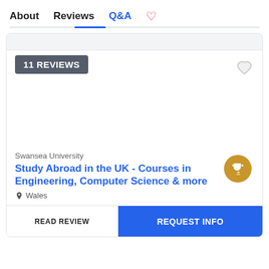About   Reviews   Q&A   ♡
11 REVIEWS
Swansea University
Study Abroad in the UK - Courses in Engineering, Computer Science & more
Wales
READ REVIEW
REQUEST INFO